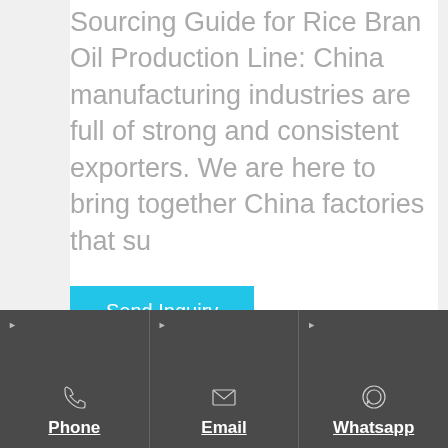Sourcing Guide for Rice Bran Oil Production Line: China manufacturing industries are full of strong and consistent exporters. We are here to bring together China factories that su
Send Inquiry
[Figure (other): Dark footer bar with three sections: Phone (phone icon), Email (envelope icon), Whatsapp (WhatsApp icon), each with underlined white label text and small triangle arrow indicators at top-left]